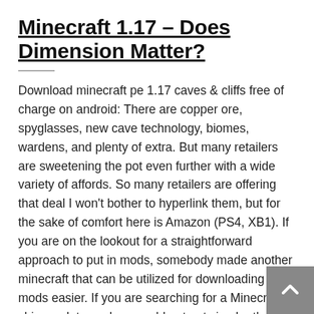Minecraft 1.17 – Does Dimension Matter?
Download minecraft pe 1.17 caves & cliffs free of charge on android: There are copper ore, spyglasses, new cave technology, biomes, wardens, and plenty of extra. But many retailers are sweetening the pot even further with a wide variety of affords. So many retailers are offering that deal I won't bother to hyperlink them, but for the sake of comfort here is Amazon (PS4, XB1). If you are on the lookout for a straightforward approach to put in mods, somebody made another minecraft that can be utilized for downloading mods easier. If you are searching for a Minecraft shipwreck to explore would not get simpler than this conveniently unwrecked ship that appears to be docked in a